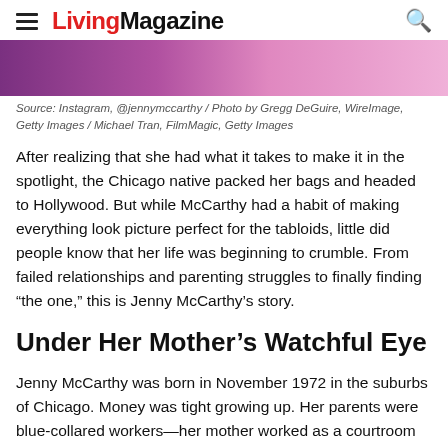LivingMagazine
[Figure (photo): A cropped photo strip showing two people, one in pink/purple tones on the left and one in lighter pink on the right.]
Source: Instagram, @jennymccarthy / Photo by Gregg DeGuire, WireImage, Getty Images / Michael Tran, FilmMagic, Getty Images
After realizing that she had what it takes to make it in the spotlight, the Chicago native packed her bags and headed to Hollywood. But while McCarthy had a habit of making everything look picture perfect for the tabloids, little did people know that her life was beginning to crumble. From failed relationships and parenting struggles to finally finding “the one,” this is Jenny McCarthy’s story.
Under Her Mother’s Watchful Eye
Jenny McCarthy was born in November 1972 in the suburbs of Chicago. Money was tight growing up. Her parents were blue-collared workers—her mother worked as a courtroom custodian and a housewife, while her father was as a steel